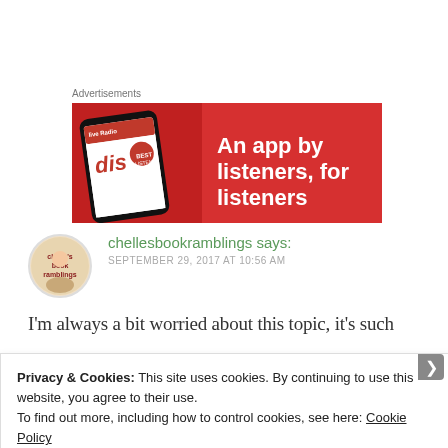Advertisements
[Figure (screenshot): Red advertisement banner for a podcast/music app with text 'An app by listeners, for listeners' and a phone mockup on the left showing the app interface.]
chellesbookramblings says:
SEPTEMBER 29, 2017 AT 10:56 AM
I'm always a bit worried about this topic, it's such
Privacy & Cookies: This site uses cookies. By continuing to use this website, you agree to their use.
To find out more, including how to control cookies, see here: Cookie Policy
Close and accept